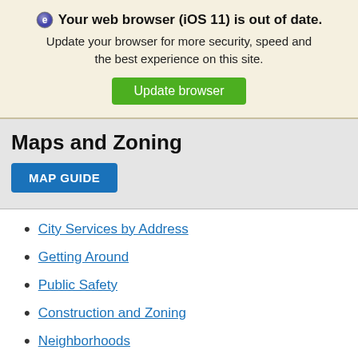Your web browser (iOS 11) is out of date. Update your browser for more security, speed and the best experience on this site. Update browser
Maps and Zoning
MAP GUIDE
City Services by Address
Getting Around
Public Safety
Construction and Zoning
Neighborhoods
GIS Maps
Key Departments
Mapping Applications